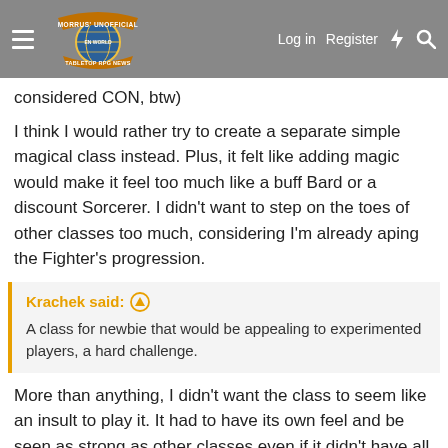Morrus' Unofficial Tabletop RPG News — Log in | Register
considered CON, btw)
I think I would rather try to create a separate simple magical class instead. Plus, it felt like adding magic would make it feel too much like a buff Bard or a discount Sorcerer. I didn't want to step on the toes of other classes too much, considering I'm already aping the Fighter's progression.
Krachek said: A class for newbie that would be appealing to experimented players, a hard challenge.
More than anything, I didn't want the class to seem like an insult to play it. It had to have its own feel and be seen as strong as other classes even if it didn't have all the bells and whistles, and just enough choices (i.e. skills, tools, ASI and then the order you get the talents) to make it feel like the character was yours. And if you play it long enough you